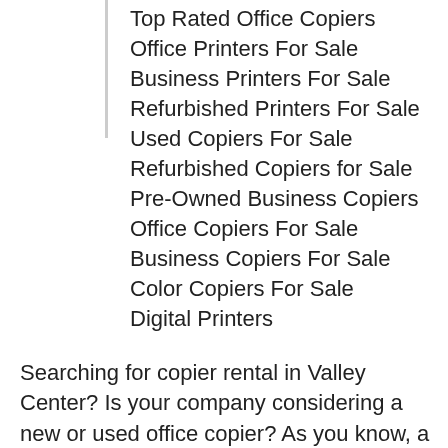Top Rated Office Copiers
Office Printers For Sale
Business Printers For Sale
Refurbished Printers For Sale
Used Copiers For Sale
Refurbished Copiers for Sale
Pre-Owned Business Copiers
Office Copiers For Sale
Business Copiers For Sale
Color Copiers For Sale
Digital Printers
Searching for copier rental in Valley Center? Is your company considering a new or used office copier? As you know, a premium high-quality business copier is very expensive. To save money, your business may consider renting a copier or even purchasing a refurbished copier. We have copier dealers in Valley Center